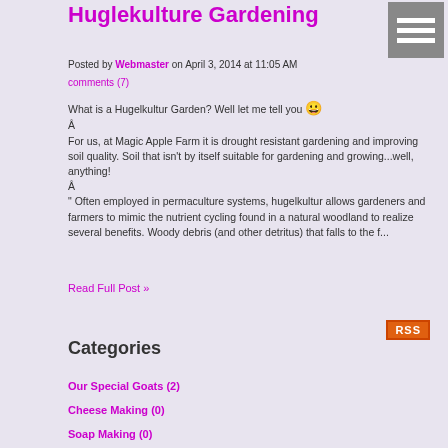Huglekulture Gardening
Posted by Webmaster on April 3, 2014 at 11:05 AM
comments (7)
What is a Hugelkultur Garden? Well let me tell you 😀
Â
For us, at Magic Apple Farm it is drought resistant gardening and improving soil quality. Soil that isn't by itself suitable for gardening and growing...well, anything!
Â
" Often employed in permaculture systems, hugelkultur allows gardeners and farmers to mimic the nutrient cycling found in a natural woodland to realize several benefits. Woody debris (and other detritus) that falls to the f...
Read Full Post »
[Figure (other): RSS feed icon button]
Categories
Our Special Goats (2)
Cheese Making (0)
Soap Making (0)